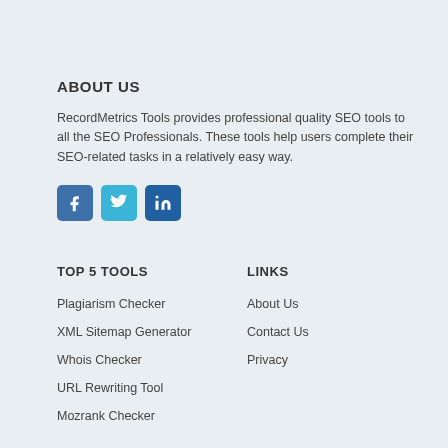ABOUT US
RecordMetrics Tools provides professional quality SEO tools to all the SEO Professionals. These tools help users complete their SEO-related tasks in a relatively easy way.
[Figure (illustration): Three social media icon buttons: Facebook (dark blue), Twitter (light blue), LinkedIn (dark blue)]
TOP 5 TOOLS
Plagiarism Checker
XML Sitemap Generator
Whois Checker
URL Rewriting Tool
Mozrank Checker
LINKS
About Us
Contact Us
Privacy